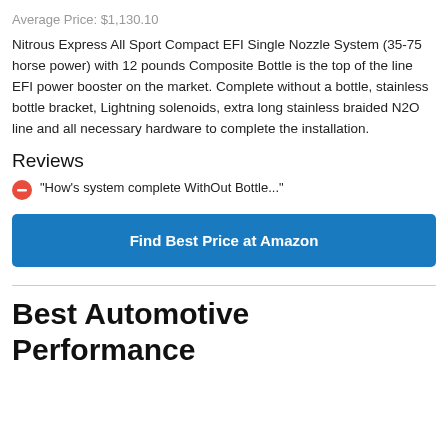Average Price: $1,130.10
Nitrous Express All Sport Compact EFI Single Nozzle System (35-75 horse power) with 12 pounds Composite Bottle is the top of the line EFI power booster on the market. Complete without a bottle, stainless bottle bracket, Lightning solenoids, extra long stainless braided N2O line and all necessary hardware to complete the installation.
Reviews
"How's system complete WithOut Bottle..."
Find Best Price at Amazon
Best Automotive Performance